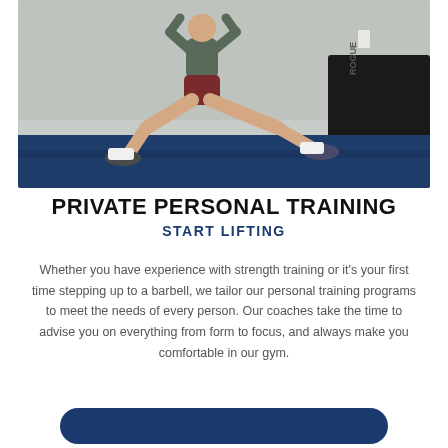[Figure (photo): A person performing a lateral squat/lunge exercise in a gym with blue flooring and a black Rogue foam pad in the background. The person wears a gray shirt and dark red shorts.]
PRIVATE PERSONAL TRAINING
START LIFTING
Whether you have experience with strength training or it's your first time stepping up to a barbell, we tailor our personal training programs to meet the needs of every person. Our coaches take the time to advise you on everything from form to focus, and always make you comfortable in our gym.